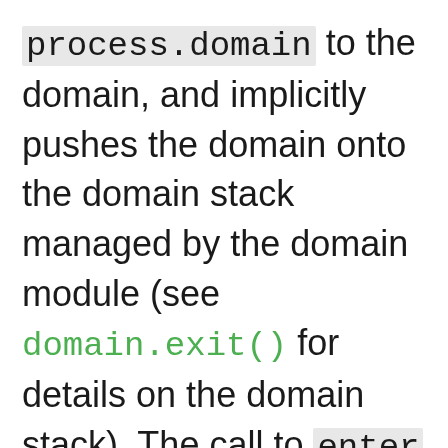process.domain to the domain, and implicitly pushes the domain onto the domain stack managed by the domain module (see domain.exit() for details on the domain stack). The call to enter delimits the domain into f